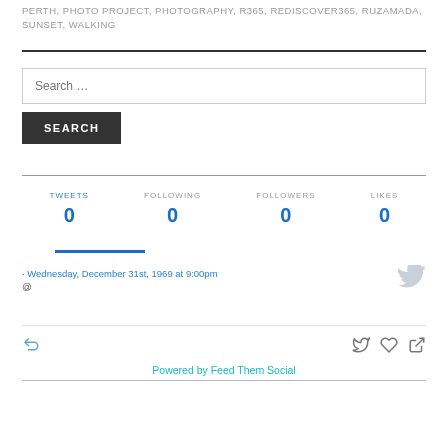PERTH, PHOTO PROJECT, PHOTOGRAPHY, R365, REDISCOVER365, RUZAMADA, SUNSET, WALKING
Search ...
SEARCH
TWEETS 0  FOLLOWING 0  FOLLOWERS 0  LIKES 0
· Wednesday, December 31st, 1969 at 9:00pm
@
Powered by Feed Them Social